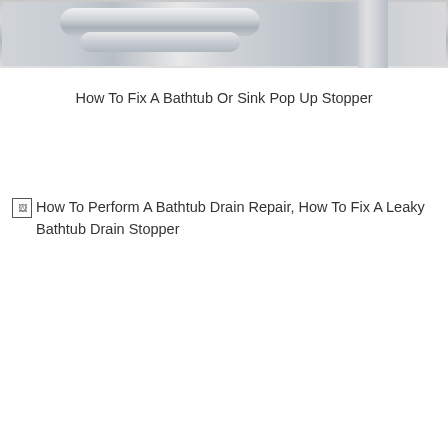[Figure (photo): Partial photo of chrome/silver plumbing pipes and drain fixtures against a light background, cropped at the top of the page.]
How To Fix A Bathtub Or Sink Pop Up Stopper
[Figure (photo): Broken image placeholder with alt text: How To Perform A Bathtub Drain Repair, How To Fix A Leaky Bathtub Drain Stopper]